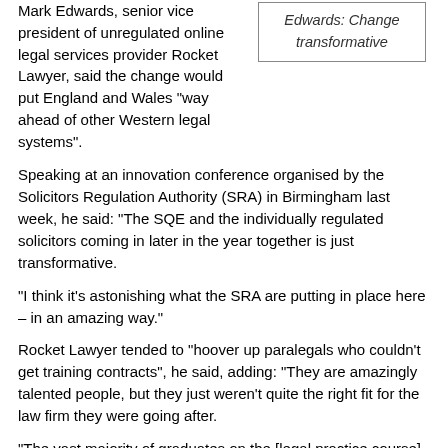Mark Edwards, senior vice president of unregulated online legal services provider Rocket Lawyer, said the change would put England and Wales “way ahead of other Western legal systems”.
Edwards: Change transformative
Speaking at an innovation conference organised by the Solicitors Regulation Authority (SRA) in Birmingham last week, he said: “The SQE and the individually regulated solicitors coming in later in the year together is just transformative.
“I think it’s astonishing what the SRA are putting in place here – in an amazing way.”
Rocket Lawyer tended to “hoover up paralegals who couldn’t get training contracts”, he said, adding: “They are amazingly talented people, but they just weren’t quite the right fit for the law firm they were going after.
“The vast majority of graduates on the [legal practice course] don’t get training contracts and find themselves left on the shelf. That’s all going to change.